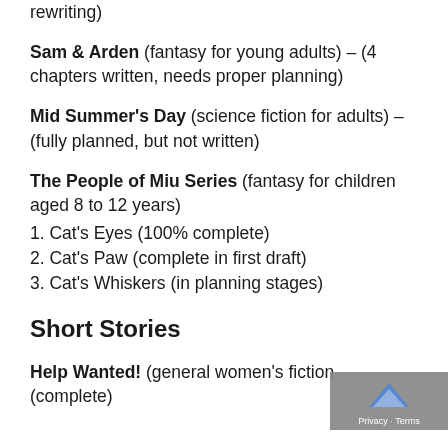rewriting)
Sam & Arden (fantasy for young adults) – (4 chapters written, needs proper planning)
Mid Summer's Day (science fiction for adults) – (fully planned, but not written)
The People of Miu Series (fantasy for children aged 8 to 12 years)
1. Cat's Eyes (100% complete)
2. Cat's Paw (complete in first draft)
3. Cat's Whiskers (in planning stages)
Short Stories
Help Wanted! (general women's fiction (complete)